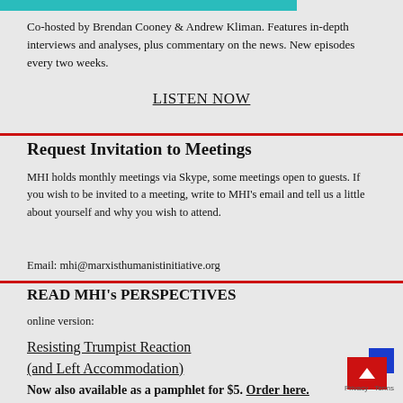[Figure (other): Teal decorative bar at top of page]
Co-hosted by Brendan Cooney & Andrew Kliman. Features in-depth interviews and analyses, plus commentary on the news. New episodes every two weeks.
LISTEN NOW
Request Invitation to Meetings
MHI holds monthly meetings via Skype, some meetings open to guests. If you wish to be invited to a meeting, write to MHI's email and tell us a little about yourself and why you wish to attend.
Email: mhi@marxisthumanistinitiative.org
READ MHI's PERSPECTIVES
online version:
Resisting Trumpist Reaction (and Left Accommodation)
Now also available as a pamphlet for $5. Order here.